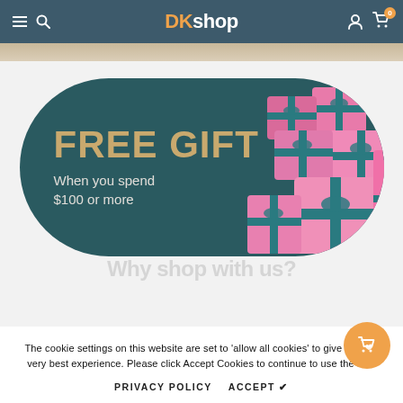DKshop — navigation header with menu, search, user, and cart (0 items)
[Figure (illustration): FREE GIFT promotional banner on teal rounded rectangle background with pink gift boxes stacked on the right. Text reads: FREE GIFT / When you spend / $100 or more]
Why shop with us?
The cookie settings on this website are set to 'allow all cookies' to give you the very best experience. Please click Accept Cookies to continue to use the site.
PRIVACY POLICY   ACCEPT ✔